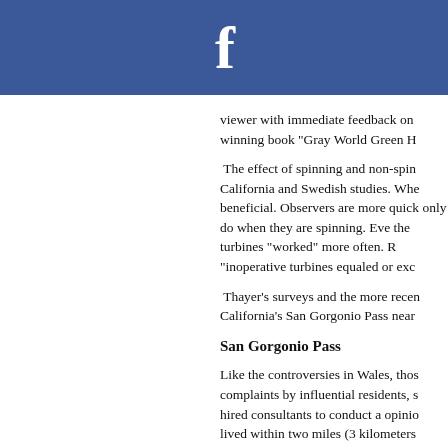[Figure (logo): Facebook logo header — blue bar with white 'f' icon]
viewer with immediate feedback on winning book "Gray World Green H
The effect of spinning and non-spinning turbines was examined in California and Swedish studies. When turbines are not spinning they can be beneficial. Observers are more quickly adapt to what they only do when they are spinning. Even observers who preferred the turbines "worked" more often. Researchers found that "inoperative turbines equaled or exc
Thayer's surveys and the more recent California's San Gorgonio Pass near
San Gorgonio Pass
Like the controversies in Wales, those complaints by influential residents, s hired consultants to conduct a opinio lived within two miles (3 kilometers nearest the wind plants, three-fourth
The results shocked wind's critics, a "blight." According to the study by N sociologist at the University of Calif borne out in fact." While the researc at this site, particularly in terms of a development." Slightly more than h